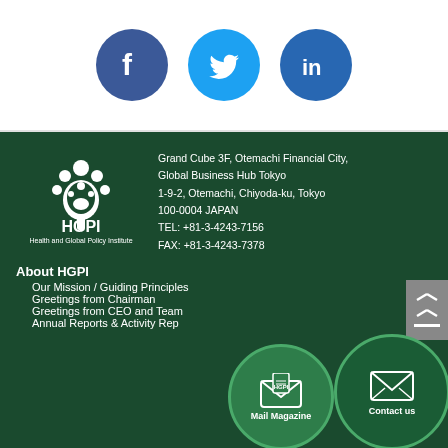[Figure (logo): Facebook circular icon (dark blue with white f)]
[Figure (logo): Twitter circular icon (light blue with white bird)]
[Figure (logo): LinkedIn circular icon (blue with white in)]
[Figure (logo): HGPI logo - white tree illustration with text HGPI and Health and Global Policy Institute]
Grand Cube 3F, Otemachi Financial City, Global Business Hub Tokyo
1-9-2, Otemachi, Chiyoda-ku, Tokyo
100-0004 JAPAN
TEL: +81-3-4243-7156
FAX: +81-3-4243-7378
About HGPI
Our Mission / Guiding Principles
Greetings from Chairman
Greetings from CEO and Team
Annual Reports & Activity Reports
[Figure (illustration): Mail Magazine circular button with envelope icon]
[Figure (illustration): Contact us circular button with envelope icon]